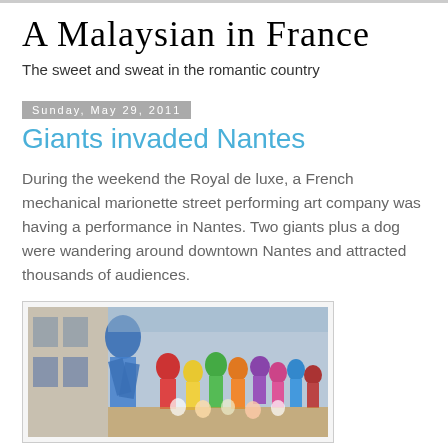A Malaysian in France
The sweet and sweat in the romantic country
Sunday, May 29, 2011
Giants invaded Nantes
During the weekend the Royal de luxe, a French mechanical marionette street performing art company was having a performance in Nantes. Two giants plus a dog were wandering around downtown Nantes and attracted thousands of audiences.
[Figure (photo): A colorful mural/painting depicting a crowd of characters, with a blue figure visible on the left side, against a building backdrop]